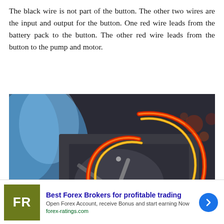The black wire is not part of the button. The other two wires are the input and output for the button. One red wire leads from the battery pack to the button. The other red wire leads from the button to the pump and motor.
[Figure (photo): Close-up photo of glowing red/orange wires connected to a button or electrical component, with blue background elements visible]
Best Forex Brokers for profitable trading
Open Forex Account, receive Bonus and start earning Now
forex-ratings.com